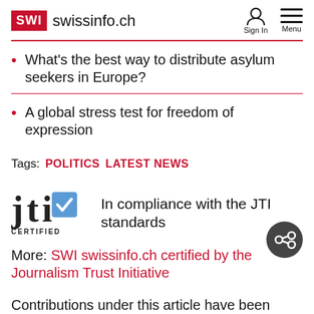SWI swissinfo.ch
What's the best way to distribute asylum seekers in Europe?
A global stress test for freedom of expression
Tags:  POLITICS  LATEST NEWS
[Figure (logo): JTI Certified logo with checkmark in blue square]
In compliance with the JTI standards
More: SWI swissinfo.ch certified by the Journalism Trust Initiative
Contributions under this article have been